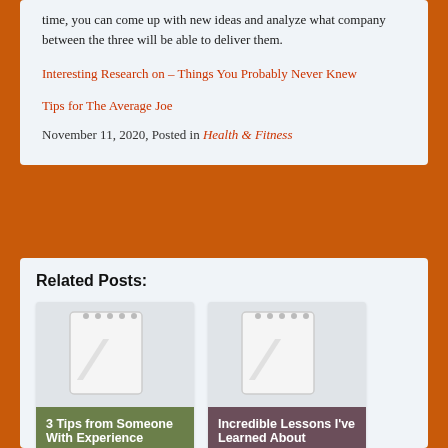time, you can come up with new ideas and analyze what company between the three will be able to deliver them.
Interesting Research on – Things You Probably Never Knew
Tips for The Average Joe
November 11, 2020, Posted in Health & Fitness
Related Posts:
[Figure (illustration): Placeholder image with notebook/calendar icon for post: 3 Tips from Someone With Experience]
3 Tips from Someone With Experience
[Figure (illustration): Placeholder image with notebook/calendar icon for post: Incredible Lessons I've Learned About]
Incredible Lessons I've Learned About